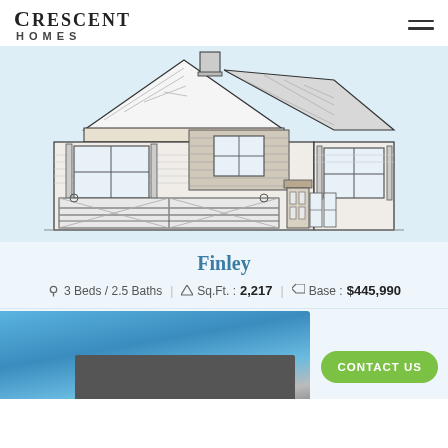Crescent Homes
[Figure (illustration): Architectural line drawing (elevation view) of a two-story craftsman-style house with two-car garage, shingle siding details, and multiple windows on a light blue background.]
Finley
3 Beds / 2.5 Baths   Sq.Ft. :2,217   Base :$445,990
[Figure (photo): Partial photo of a home interior or exterior, partially visible at the bottom of the page, with a green 'CONTACT US' button overlay.]